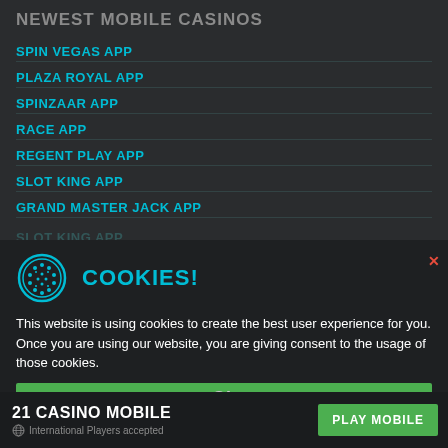NEWEST MOBILE CASINOS
SPIN VEGAS APP
PLAZA ROYAL APP
SPINZAAR APP
RACE APP
REGENT PLAY APP
SLOT KING APP
GRAND MASTER JACK APP
COOKIES!
This website is using cookies to create the best user experience for you. Once you are using our website, you are giving consent to the usage of those cookies.
21 CASINO MOBILE — International Players accepted — PLAY MOBILE